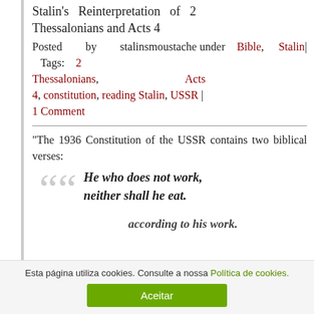Stalin's Reinterpretation of 2 Thessalonians and Acts 4
Posted by stalinsmoustache under Bible, Stalin| Tags: 2 Thessalonians, Acts 4, constitution, reading Stalin, USSR | 1 Comment
"The 1936 Constitution of the USSR contains two biblical verses:
He who does not work, neither shall he eat.
according to his work.
Esta página utiliza cookies. Consulte a nossa Política de cookies.
Aceitar